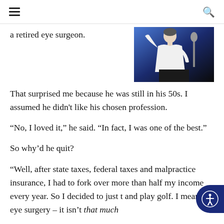Navigation header with hamburger menu and search icon
a retired eye surgeon.
[Figure (photo): A man in a white shirt gesturing or speaking, photographed at an event with a microphone visible, against a blue background.]
That surprised me because he was still in his 50s. I assumed he didn't like his chosen profession.
“No, I loved it,” he said. “In fact, I was one of the best.”
So why’d he quit?
“Well, after state taxes, federal taxes and malpractice insurance, I had to fork over more than half my income every year. So I decided to just t and play golf. I mean, eye surgery – it isn’t that much